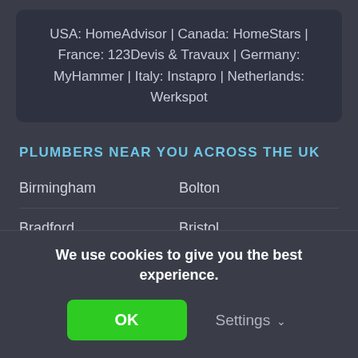USA: HomeAdvisor | Canada: HomeStars | France: 123Devis & Travaux | Germany: MyHammer | Italy: Instapro | Netherlands: Werkspot
PLUMBERS NEAR YOU ACROSS THE UK
Birmingham
Bolton
Bradford
Bristol
Cambridge
Cardiff
Coventry
Derby
Edinburgh
Glasgow
We use cookies to give you the best experience.